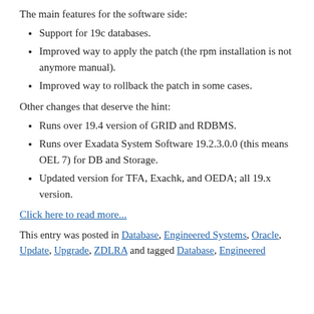The main features for the software side:
Support for 19c databases.
Improved way to apply the patch (the rpm installation is not anymore manual).
Improved way to rollback the patch in some cases.
Other changes that deserve the hint:
Runs over 19.4 version of GRID and RDBMS.
Runs over Exadata System Software 19.2.3.0.0 (this means OEL 7) for DB and Storage.
Updated version for TFA, Exachk, and OEDA; all 19.x version.
Click here to read more...
This entry was posted in Database, Engineered Systems, Oracle, Update, Upgrade, ZDLRA and tagged Database, Engineered